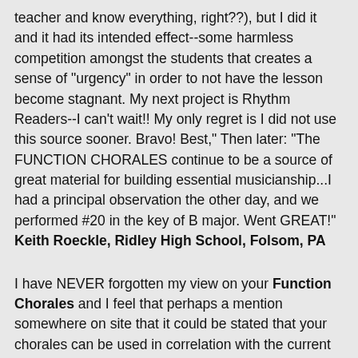teacher and know everything, right??), but I did it and it had its intended effect--some harmless competition amongst the students that creates a sense of "urgency" in order to not have the lesson become stagnant. My next project is Rhythm Readers--I can't wait!! My only regret is I did not use this source sooner. Bravo! Best," Then later: "The FUNCTION CHORALES continue to be a source of great material for building essential musicianship...I had a principal observation the other day, and we performed #20 in the key of B major. Went GREAT!" Keith Roeckle, Ridley High School, Folsom, PA
I have NEVER forgotten my view on your Function Chorales and I feel that perhaps a mention somewhere on site that it could be stated that your chorales can be used in correlation with the current examples in the tonal harmony texts such as: